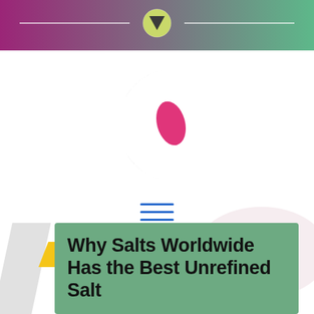[Figure (other): Top gradient banner with horizontal lines and a downward-pointing triangle icon in a circle, gradient from purple/magenta to teal/green]
[Figure (logo): Partial logo showing a black crescent shape with a pink/magenta leaf or petal shape inside]
[Figure (other): Blue hamburger menu icon (three horizontal lines)]
[Figure (other): Yellow parallelogram decorative shape on the left side]
Why Salts Worldwide Has the Best Unrefined Salt